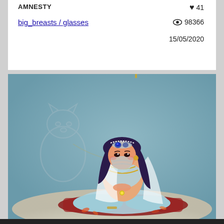AMNESTY
41
big_breasts / glasses
98366
15/05/2020
[Figure (illustration): Digital illustration of a female cartoon character in blue fantasy/Arabian-style outfit, sitting on a red cushion, with dark purple hair, a veil covering the lower face, gold jewelry and chains, goggles on head, and a large stone tiger statue in the background.]